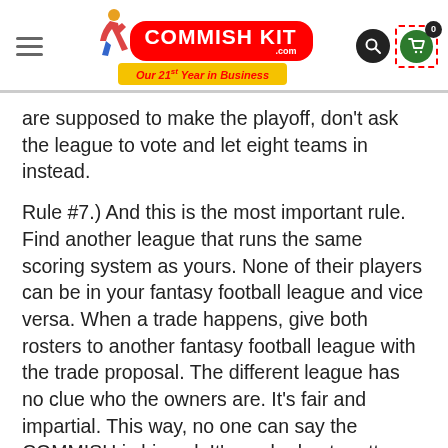Commish Kit — Our 21st Year in Business
are supposed to make the playoff, don't ask the league to vote and let eight teams in instead.
Rule #7.) And this is the most important rule. Find another league that runs the same scoring system as yours. None of their players can be in your fantasy football league and vice versa. When a trade happens, give both rosters to another fantasy football league with the trade proposal. The different league has no clue who the owners are. It's fair and impartial. This way, no one can say the COMMISH is biased. It's worked out pretty well for us the last seven years.
Rule #8.) Set a deadline for your trades. Ours is on the week of Thanksgiving.
Rule #9.) Use a trade analyzer or hire a fantasy judge. I